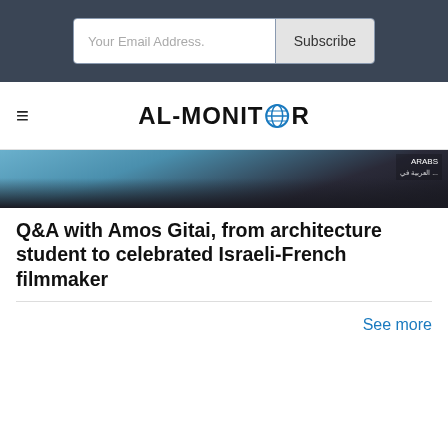[Figure (screenshot): Email subscription bar with 'Your Email Address.' input field and 'Subscribe' button on dark gray background]
[Figure (logo): AL-MONITOR logo with globe icon replacing the O, navigation bar with hamburger menu]
[Figure (photo): Partial photo of a person in dark clothing with blue background, article thumbnail image]
Q&A with Amos Gitai, from architecture student to celebrated Israeli-French filmmaker
See more